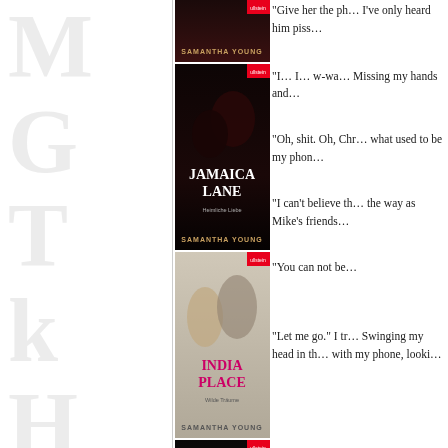[Figure (illustration): Decorative watermark letters M, G, T, k, H, R in large light gray serif font along the left margin]
[Figure (photo): Book cover: Jamaica Lane by Samantha Young (Ullstein) - romantic couple]
[Figure (photo): Book cover: India Place by Samantha Young (Ullstein) - romantic couple]
[Figure (photo): Book cover: Unnamed Samantha Young book (Ullstein) - romantic couple]
“Give her the ph… I’ve only heard him piss…
“I… I… w-wa… Missing my hands and…
“Oh, shit. Oh, Chr… what used to be my phon…
“I can’t believe th… the way as Mike’s friends…
“You can not be…
“Let me go.” I tr… Swinging my head in th… with my phone, looki…